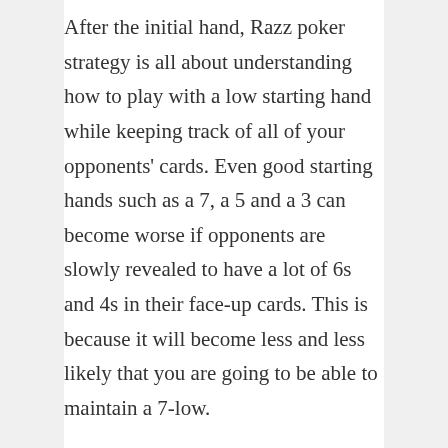After the initial hand, Razz poker strategy is all about understanding how to play with a low starting hand while keeping track of all of your opponents' cards. Even good starting hands such as a 7, a 5 and a 3 can become worse if opponents are slowly revealed to have a lot of 6s and 4s in their face-up cards. This is because it will become less and less likely that you are going to be able to maintain a 7-low.
It is also possible to get to the point where you know you have an opponent beaten. For example, let us